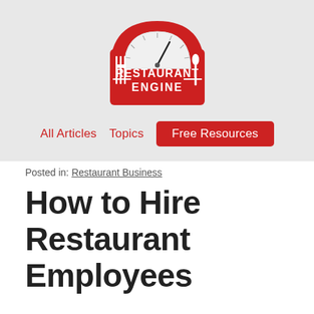[Figure (logo): Restaurant Engine logo: red arch/badge shape with speedometer semicircle on top, fork on left, spoon on right, white text RESTAURANT ENGINE in center]
All Articles   Topics   Free Resources
Posted in: Restaurant Business
How to Hire Restaurant Employees